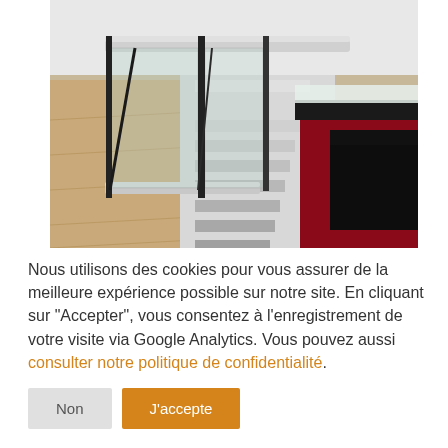[Figure (photo): Interior architectural photo showing a glass balustrade/railing with black metal frames on a wooden floor, with white stairs visible in the background and dark furniture (sideboard/cabinet) on the right side.]
Nous utilisons des cookies pour vous assurer de la meilleure expérience possible sur notre site. En cliquant sur "Accepter", vous consentez à l'enregistrement de votre visite via Google Analytics. Vous pouvez aussi consulter notre politique de confidentialité.